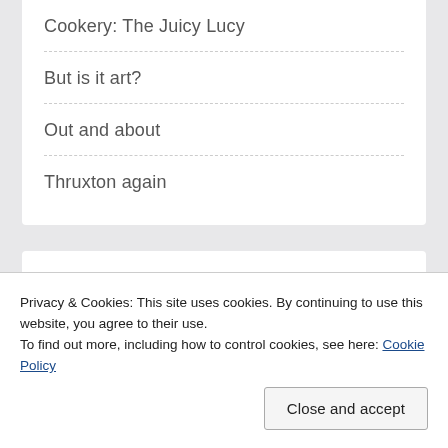Cookery: The Juicy Lucy
But is it art?
Out and about
Thruxton again
Archives
Privacy & Cookies: This site uses cookies. By continuing to use this website, you agree to their use.
To find out more, including how to control cookies, see here: Cookie Policy